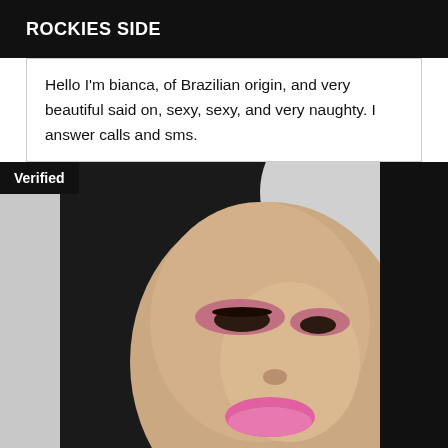ROCKIES SIDE
Hello I'm bianca, of Brazilian origin, and very beautiful said on, sexy, sexy, and very naughty. I answer calls and sms.
[Figure (photo): Portrait photo of a woman with long dark hair, pink lipstick, and pink eye makeup, with a 'Verified' badge overlay in the top-left corner]